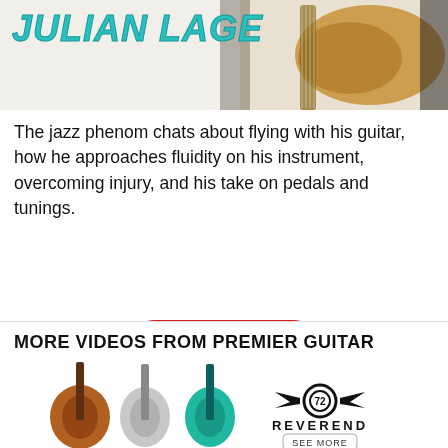[Figure (photo): Header banner showing 'JULIAN LAGE' in large teal italic bold text on the left, with a photo of a guitar (acoustic/archtop) on the right against a light background.]
The jazz phenom chats about flying with his guitar, how he approaches fluidity on his instrument, overcoming injury, and his take on pedals and tunings.
Read More
[Figure (infographic): Social share icons: Facebook circle logo, Twitter bird logo, Email envelope icon — all black on white.]
JULIAN LAGE  |
MORE VIDEOS FROM PREMIER GUITAR
[Figure (photo): Reverend Guitars advertisement showing three electric guitars (sunburst, silver/white, and teal/green) with the Reverend logo and 'SEE MORE' button.]